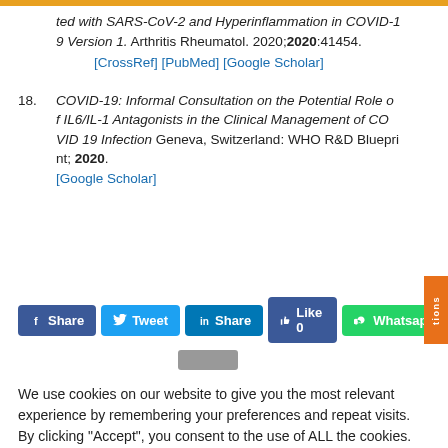ted with SARS-CoV-2 and Hyperinflammation in COVID-19 Version 1. Arthritis Rheumatol. 2020;2020:41454. [CrossRef] [PubMed] [Google Scholar]
18. COVID-19: Informal Consultation on the Potential Role of IL6/IL-1 Antagonists in the Clinical Management of COVID 19 Infection Geneva, Switzerland: WHO R&D Blueprint; 2020. [Google Scholar]
[Figure (screenshot): Social sharing buttons: Facebook Share, Twitter Tweet, LinkedIn Share, Like 0, WhatsApp. Orange vertical tab on right side reading 'tions'.]
We use cookies on our website to give you the most relevant experience by remembering your preferences and repeat visits. By clicking "Accept", you consent to the use of ALL the cookies.
Do not sell my personal information.
[Figure (screenshot): Cookie settings buttons: 'Cookie Settings' (gray) and 'Accept' (green).]